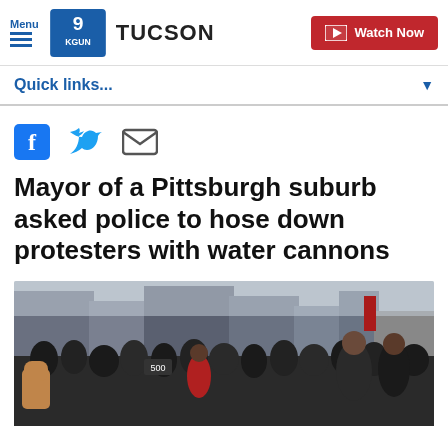Menu KGUN 9 TUCSON | Watch Now
Quick links...
[Figure (other): Social share icons: Facebook, Twitter, Email]
Mayor of a Pittsburgh suburb asked police to hose down protesters with water cannons
[Figure (photo): Crowd of protesters on a city street, raising fists, buildings in background]